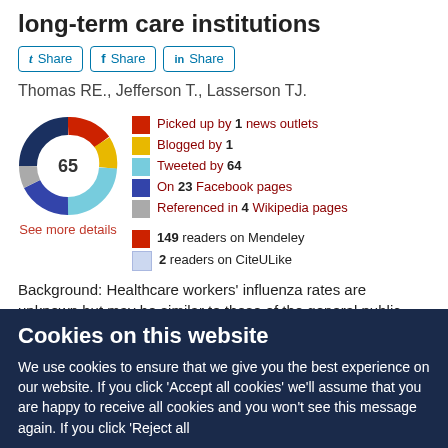long-term care institutions
Share (Twitter)
Share (Facebook)
Share (LinkedIn)
Thomas RE., Jefferson T., Lasserson TJ.
[Figure (donut-chart): Altmetric donut chart showing score of 65 with colored segments for news, blogs, Twitter, Facebook, Wikipedia]
Picked up by 1 news outlets
Blogged by 1
Tweeted by 64
On 23 Facebook pages
Referenced in 4 Wikipedia pages
149 readers on Mendeley
2 readers on CiteULike
See more details
Background: Healthcare workers' influenza rates are unknown but may be similar to those of the general public. Healthcare
Cookies on this website
We use cookies to ensure that we give you the best experience on our website. If you click 'Accept all cookies' we'll assume that you are happy to receive all cookies and you won't see this message again. If you click 'Reject all